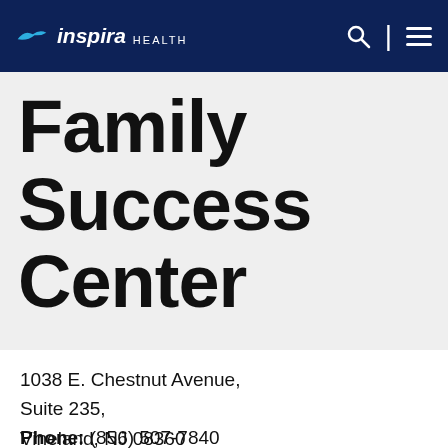Inspira Health
Family Success Center
1038 E. Chestnut Avenue,
Suite 235,
Vineland, NJ 08360
Phone:    (856) 507-7840